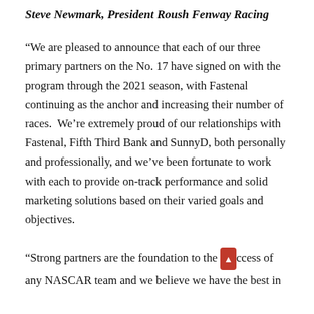Steve Newmark, President Roush Fenway Racing
“We are pleased to announce that each of our three primary partners on the No. 17 have signed on with the program through the 2021 season, with Fastenal continuing as the anchor and increasing their number of races.  We’re extremely proud of our relationships with Fastenal, Fifth Third Bank and SunnyD, both personally and professionally, and we’ve been fortunate to work with each to provide on-track performance and solid marketing solutions based on their varied goals and objectives.
“Strong partners are the foundation to the success of any NASCAR team and we believe we have the best in